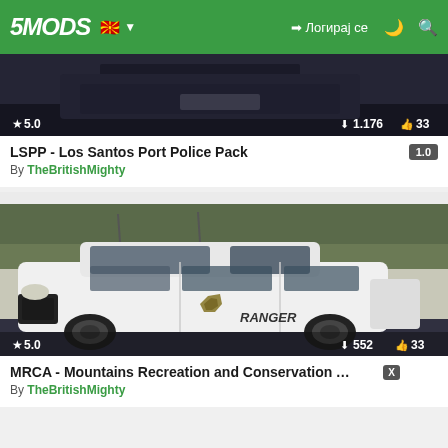5MODS | Логирај се
[Figure (screenshot): Dark screenshot of a police vehicle from GTA V mod, showing rear view with dark background. Stats: 5.0 stars, 1,176 downloads, 33 likes.]
LSPP - Los Santos Port Police Pack 1.0
By TheBritishMighty
[Figure (screenshot): White police SUV (Ranger) in GTA V with sheriff badge on door, parked outdoors. Stats: 5.0 stars, 552 downloads, 33 likes.]
MRCA - Mountains Recreation and Conservation Authority M...
By TheBritishMighty